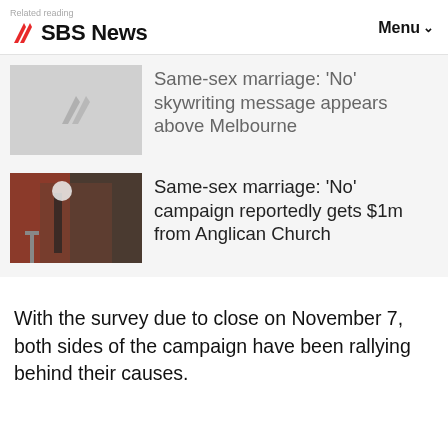Related reading | SBS News | Menu
Same-sex marriage: 'No' skywriting message appears above Melbourne
Same-sex marriage: 'No' campaign reportedly gets $1m from Anglican Church
With the survey due to close on November 7, both sides of the campaign have been rallying behind their causes.